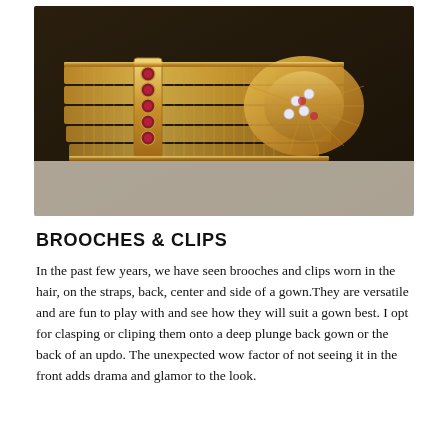[Figure (photo): Close-up photograph of an ornate gold mesh bracelet with ruby and diamond embellishments, featuring a decorative clasp with gemstones.]
BROOCHES & CLIPS
In the past few years, we have seen brooches and clips worn in the hair, on the straps, back, center and side of a gown.They are versatile and are fun to play with and see how they will suit a gown best. I opt for clasping or cliping them onto a deep plunge back gown or the back of an updo. The unexpected wow factor of not seeing it in the front adds drama and glamor to the look.